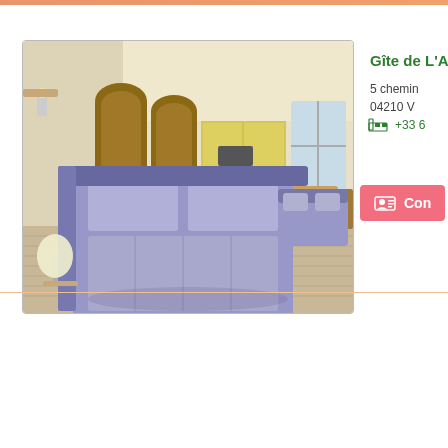[Figure (photo): Interior photo of a gîte room showing a double bed with purple/grey bedding, a sofa, kitchen area with yellow cabinets, wooden doors, dining table and chairs, and light wood flooring.]
Gîte de L'Adr
5 chemin
04210 V
+33 6
Con